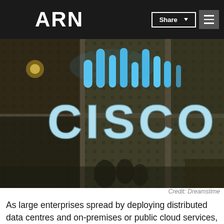ARN
[Figure (photo): Illuminated Cisco logo sign with blue LED bars above the text on a dark mesh/grid background building facade]
Credit: Dreamstime
As large enterprises spread by deploying distributed data centres and on-premises or public cloud services, the ability to control and manage applications and workloads utilising that infrastructure is becoming more difficult.